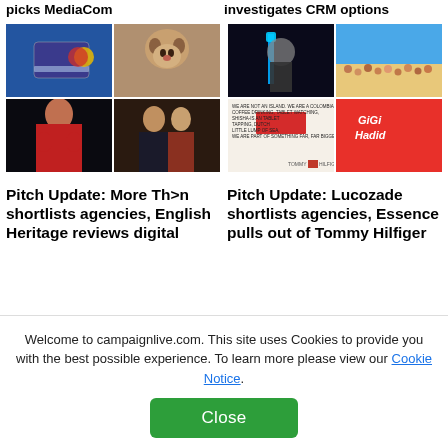picks MediaCom
investigates CRM options
[Figure (photo): Four-image grid: credit card held up, cat looking at camera, person in red scarf, couple at restaurant]
[Figure (photo): Four-image grid: singer with blue guitar on dark background, beach crowd, Tommy Hilfiger ad with Gigi Hadid and text 'We are not an island', colorful Gigi Hadid Tommy Hilfiger promotional image]
Pitch Update: More Th>n shortlists agencies, English Heritage reviews digital
Pitch Update: Lucozade shortlists agencies, Essence pulls out of Tommy Hilfiger
Welcome to campaignlive.com. This site uses Cookies to provide you with the best possible experience. To learn more please view our Cookie Notice.
Close